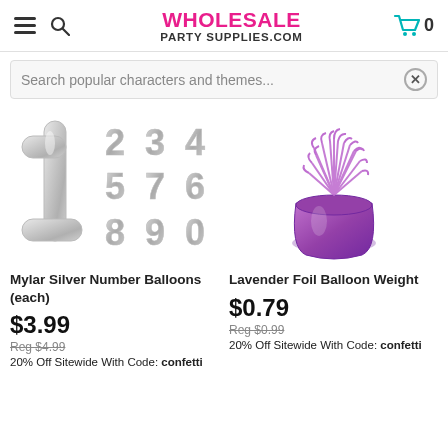WHOLESALE PARTY SUPPLIES.COM | Menu | Search | Cart 0
Search popular characters and themes...
[Figure (photo): Mylar silver number balloons showing digits 1 through 0]
Mylar Silver Number Balloons (each)
$3.99
Reg $4.99
20% Off Sitewide With Code: confetti
[Figure (photo): Lavender foil balloon weight with metallic fringe top]
Lavender Foil Balloon Weight
$0.79
Reg $0.99
20% Off Sitewide With Code: confetti